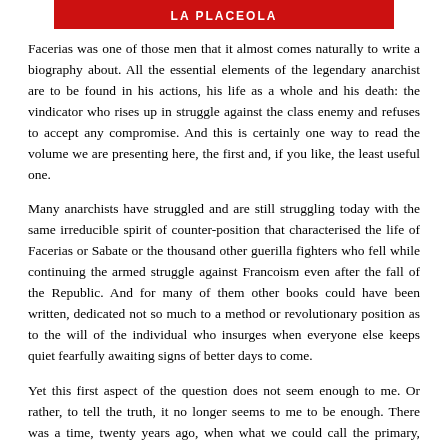LA PLACEOLA
Facerias was one of those men that it almost comes naturally to write a biography about. All the essential elements of the legendary anarchist are to be found in his actions, his life as a whole and his death: the vindicator who rises up in struggle against the class enemy and refuses to accept any compromise. And this is certainly one way to read the volume we are presenting here, the first and, if you like, the least useful one.
Many anarchists have struggled and are still struggling today with the same irreducible spirit of counter-position that characterised the life of Facerias or Sabate or the thousand other guerilla fighters who fell while continuing the armed struggle against Francoism even after the fall of the Republic. And for many of them other books could have been written, dedicated not so much to a method or revolutionary position as to the will of the individual who insurges when everyone else keeps quiet fearfully awaiting signs of better days to come.
Yet this first aspect of the question does not seem enough to me. Or rather, to tell the truth, it no longer seems to me to be enough. There was a time, twenty years ago, when what we could call the primary, essential analysis i.e. the analysis aimed at underlining the